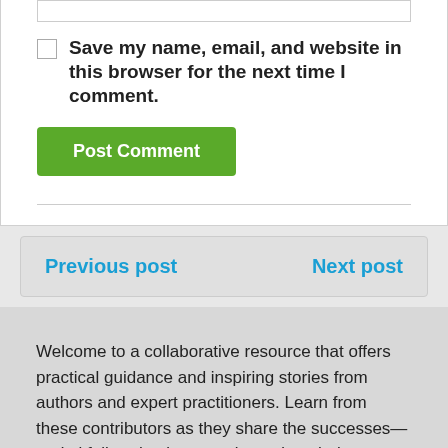Save my name, email, and website in this browser for the next time I comment.
Post Comment
Previous post
Next post
Welcome to a collaborative resource that offers practical guidance and inspiring stories from authors and expert practitioners. Learn from these contributors as they share the successes—and pitfalls—they've experienced on their